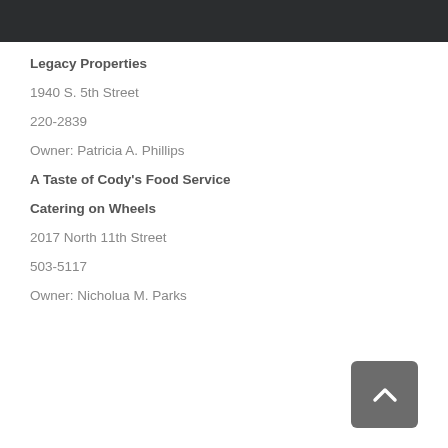Legacy Properties
1940 S. 5th Street
220-2839
Owner: Patricia A. Phillips
A Taste of Cody's Food Service
Catering on Wheels
2017 North 11th Street
503-5117
Owner: Nicholua M. Parks